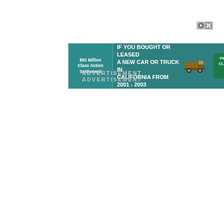[Figure (infographic): Advertisement banner for $82 Million Class Action Settlement for people who bought or leased a new car or truck in California from 2001-2003. Features a truck image and 'FILE YOUR CLAIM NOW' call to action button.]
ADVERTISEMENT